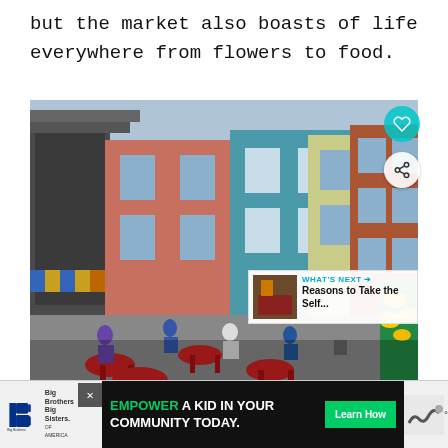but the market also boasts of life everywhere from flowers to food.
[Figure (photo): Outdoor market/plaza scene with colorful historic buildings (salmon, teal/blue, yellow-green, brick red) in background. People dining at red tables and chairs in foreground. Yellow flower plants visible at right edge. Covered market structure visible at left.]
[Figure (infographic): WHAT'S NEXT arrow label with thumbnail image and text: Reasons to Take the Self...]
EMPOWER A KID IN YOUR COMMUNITY TODAY.
[Figure (logo): Big Brothers Big Sisters of America logo]